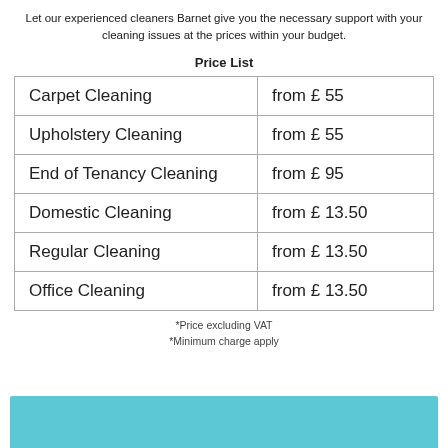Let our experienced cleaners Barnet give you the necessary support with your cleaning issues at the prices within your budget.
Price List
|  |  |
| --- | --- |
| Carpet Cleaning | from £ 55 |
| Upholstery Cleaning | from £ 55 |
| End of Tenancy Cleaning | from £ 95 |
| Domestic Cleaning | from £ 13.50 |
| Regular Cleaning | from £ 13.50 |
| Office Cleaning | from £ 13.50 |
*Price excluding VAT
*Minimum charge apply
[Figure (other): Teal/cyan colored decorative bar at the bottom of the page]